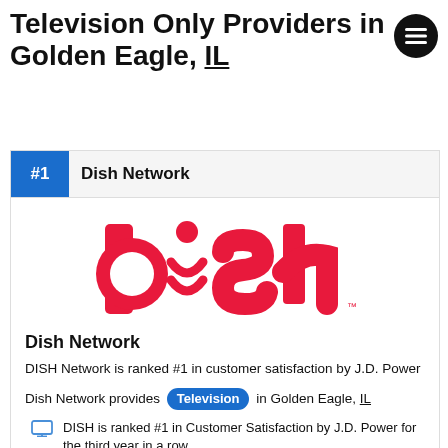Television Only Providers in Golden Eagle, IL
[Figure (logo): Hamburger menu icon in black circle]
#1 Dish Network
[Figure (logo): DISH Network logo in red on white background]
Dish Network
DISH Network is ranked #1 in customer satisfaction by J.D. Power
Dish Network provides Television in Golden Eagle, IL
DISH is ranked #1 in Customer Satisfaction by J.D. Power for the third year in a row.
2 Year TV Price Guarantee